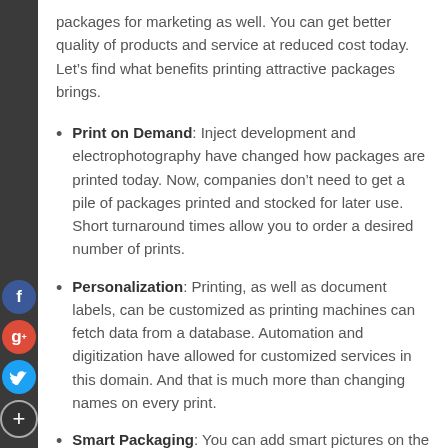packages for marketing as well. You can get better quality of products and service at reduced cost today. Let's find what benefits printing attractive packages brings.
Print on Demand: Inject development and electrophotography have changed how packages are printed today. Now, companies don't need to get a pile of packages printed and stocked for later use. Short turnaround times allow you to order a desired number of prints.
Personalization: Printing, as well as document labels, can be customized as printing machines can fetch data from a database. Automation and digitization have allowed for customized services in this domain. And that is much more than changing names on every print.
Smart Packaging: You can add smart pictures on the